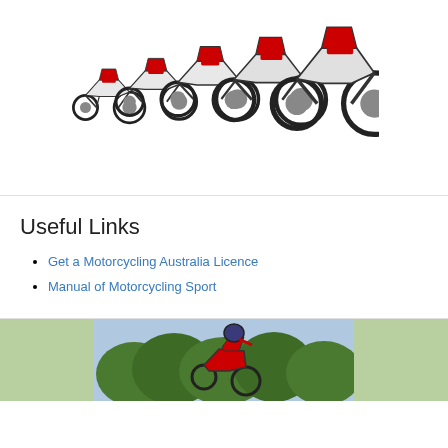[Figure (photo): A lineup of multiple red, black and white trials/motocross motorcycles arranged in a row, increasing in size from left to right, on a white background.]
Useful Links
Get a Motorcycling Australia Licence
Manual of Motorcycling Sport
[Figure (photo): A motorcyclist in a red jacket and helmet performing a jump or trick on a dirt bike, with green trees in the background and sky visible.]